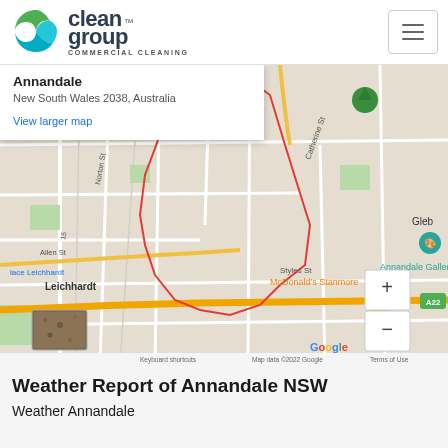[Figure (logo): Clean Group Commercial Cleaning logo with green and teal swirl icon]
[Figure (map): Google Maps screenshot showing Annandale, New South Wales 2038, Australia with surrounding suburbs including Leichhardt, Glebe, Camperdown, and landmarks such as Annandale Galleries, Royal Prince Alfred Hospital, Tramsheds, and McDonald's Stanmore. A red boundary outlines the Annandale area. Map data ©2022 Google.]
Weather Report of Annandale NSW
Weather Annandale